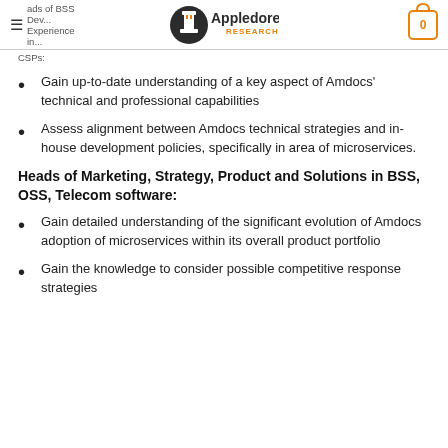≡ ads of BSS Dev... Appledore RESEARCH Experience in... CSPs:  0
Gain up-to-date understanding of a key aspect of Amdocs' technical and professional capabilities
Assess alignment between Amdocs technical strategies and in-house development policies, specifically in area of microservices.
Heads of Marketing, Strategy, Product and Solutions in BSS, OSS, Telecom software:
Gain detailed understanding of the significant evolution of Amdocs adoption of microservices within its overall product portfolio
Gain the knowledge to consider possible competitive response strategies